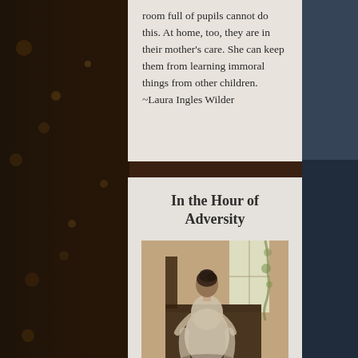room full of pupils cannot do this. At home, too, they are in their mother's care. She can keep them from learning immoral things from other children. ~Laura Ingles Wilder
In the Hour of Adversity
[Figure (illustration): A painting of a woman with dark upswept hair, dressed in a light gray/white gown, seated at what appears to be a piano or desk, viewed from behind, near a window with soft natural light]